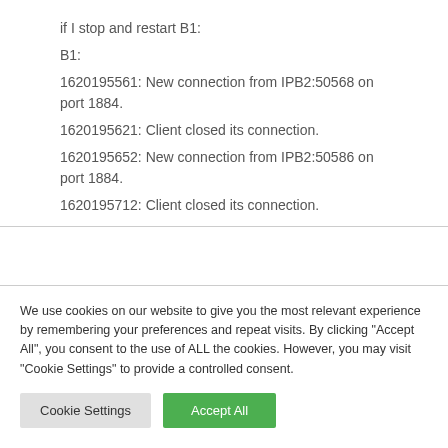if I stop and restart B1:
B1:
1620195561: New connection from IPB2:50568 on port 1884.
1620195621: Client closed its connection.
1620195652: New connection from IPB2:50586 on port 1884.
1620195712: Client closed its connection.
We use cookies on our website to give you the most relevant experience by remembering your preferences and repeat visits. By clicking "Accept All", you consent to the use of ALL the cookies. However, you may visit "Cookie Settings" to provide a controlled consent.